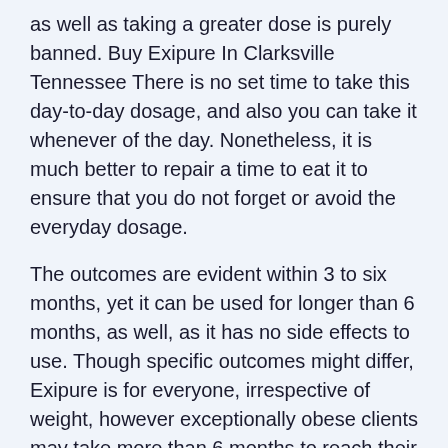as well as taking a greater dose is purely banned. Buy Exipure In Clarksville Tennessee There is no set time to take this day-to-day dosage, and also you can take it whenever of the day. Nonetheless, it is much better to repair a time to eat it to ensure that you do not forget or avoid the everyday dosage.
The outcomes are evident within 3 to six months, yet it can be used for longer than 6 months, as well, as it has no side effects to use. Though specific outcomes might differ, Exipure is for everyone, irrespective of weight, however exceptionally obese clients may take more than 6 months to reach their target weight. Absolutely nothing inside Exipure has an addicting capacity or withdrawal effect, and also you can utilize it